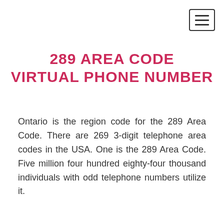289 AREA CODE VIRTUAL PHONE NUMBER
Ontario is the region code for the 289 Area Code. There are 269 3-digit telephone area codes in the USA. One is the 289 Area Code. Five million four hundred eighty-four thousand individuals with odd telephone numbers utilize it.